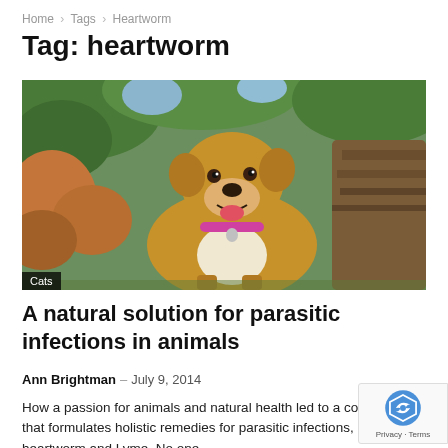Home > Tags > Heartworm
Tag: heartworm
[Figure (photo): A tan/golden mixed-breed dog with a pink collar sitting outdoors among autumn leaves and green foliage, with a 'Cats' category label overlaid at the bottom left.]
A natural solution for parasitic infections in animals
Ann Brightman – July 9, 2014
How a passion for animals and natural health led to a company that formulates holistic remedies for parasitic infections, including heartworm and Lyme. No one…